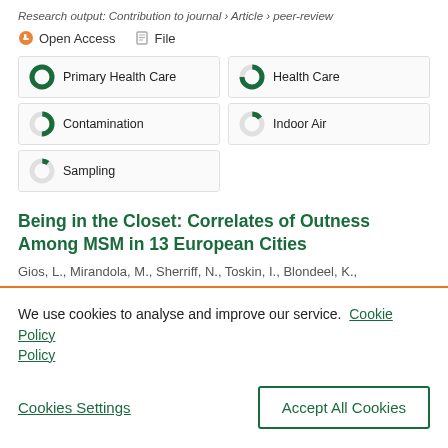Research output: Contribution to journal › Article › peer-review
Open Access   File
Primary Health Care
Health Care
Contamination
Indoor Air
Sampling
Being in the Closet: Correlates of Outness Among MSM in 13 European Cities
Gios, L., Mirandola, M., Sherriff, N., Toskin, I., Blondeel, K.,
We use cookies to analyse and improve our service. Cookie Policy
Cookies Settings
Accept All Cookies